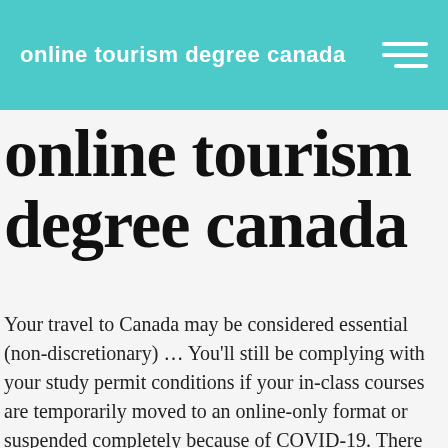online tourism degree canada
online tourism degree canada
Your travel to Canada may be considered essential (non-discretionary) … You'll still be complying with your study permit conditions if your in-class courses are temporarily moved to an online-only format or suspended completely because of COVID-19. There are more jobs available than job-seekers - since 2013/14, the demand for workers in the BC tourism industry has significantly exceeded supply. Program curriculums cover industry standards and